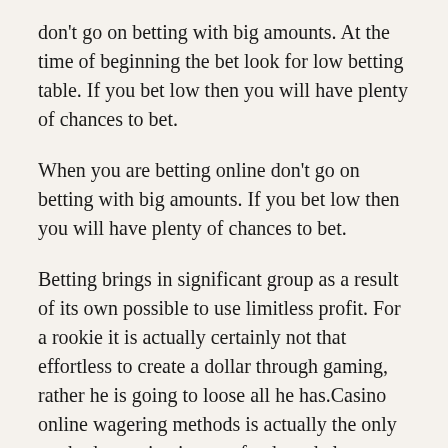don't go on betting with big amounts. At the time of beginning the bet look for low betting table. If you bet low then you will have plenty of chances to bet.
When you are betting online don't go on betting with big amounts. If you bet low then you will have plenty of chances to bet.
Betting brings in significant group as a result of its own possible to use limitless profit. For a rookie it is actually certainly not that effortless to create a dollar through gaming, rather he is going to loose all he has.Casino online wagering methods is actually the only method to maintain your funds and also optimize your gambling chances to make a growing number of amount of money.
There are actually many risks of gambling enterprise online wagering for folks that are